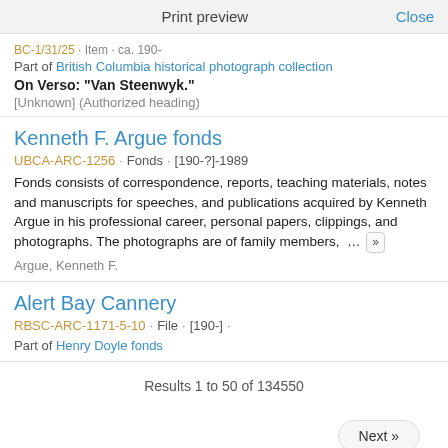Print preview   Close
BC-1/31/25 · Item · ca. 190-
Part of British Columbia historical photograph collection
On Verso: "Van Steenwyk."
[Unknown] (Authorized heading)
Kenneth F. Argue fonds
UBCA-ARC-1256 · Fonds · [190-?]-1989
Fonds consists of correspondence, reports, teaching materials, notes and manuscripts for speeches, and publications acquired by Kenneth Argue in his professional career, personal papers, clippings, and photographs. The photographs are of family members, ... »
Argue, Kenneth F.
Alert Bay Cannery
RBSC-ARC-1171-5-10 · File · [190-] ·
Part of Henry Doyle fonds
Results 1 to 50 of 134550